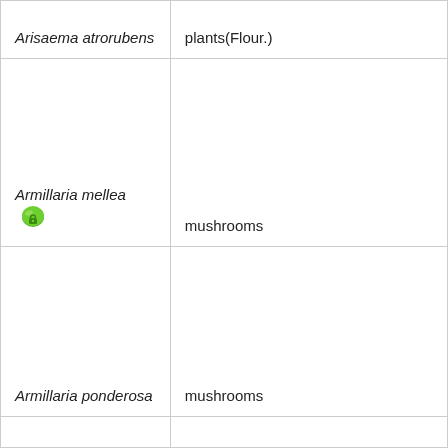| Arisaema atrorubens | plants(Flour.) |
| Armillaria mellea [icon] | mushrooms |
| Armillaria ponderosa | mushrooms |
|  |  |